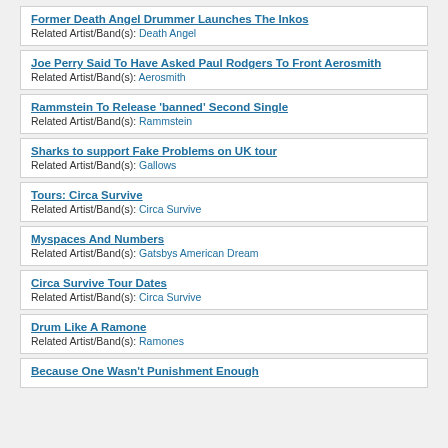Former Death Angel Drummer Launches The Inkos
Related Artist/Band(s): Death Angel
Joe Perry Said To Have Asked Paul Rodgers To Front Aerosmith
Related Artist/Band(s): Aerosmith
Rammstein To Release 'banned' Second Single
Related Artist/Band(s): Rammstein
Sharks to support Fake Problems on UK tour
Related Artist/Band(s): Gallows
Tours: Circa Survive
Related Artist/Band(s): Circa Survive
Myspaces And Numbers
Related Artist/Band(s): Gatsbys American Dream
Circa Survive Tour Dates
Related Artist/Band(s): Circa Survive
Drum Like A Ramone
Related Artist/Band(s): Ramones
Because One Wasn't Punishment Enough